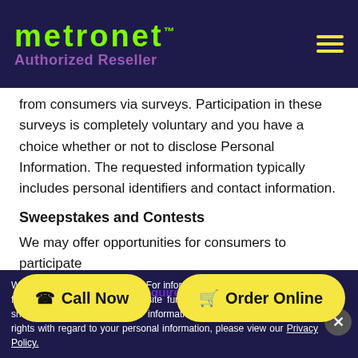metronet Authorized Reseller
from consumers via surveys. Participation in these surveys is completely voluntary and you have a choice whether or not to disclose Personal Information. The requested information typically includes personal identifiers and contact information.
Sweepstakes and Contests
We may offer opportunities for consumers to participate
Call Now   Order Online
Participation usually requires providing certain personal
We take your privacy seriously. For information about our use of cookies for analytics, advertising, and site functionality; how we collect, use, share, and sell your personal information; and how to exercise your rights with regard to your personal information, please view our Privacy Policy.
Social Widgets